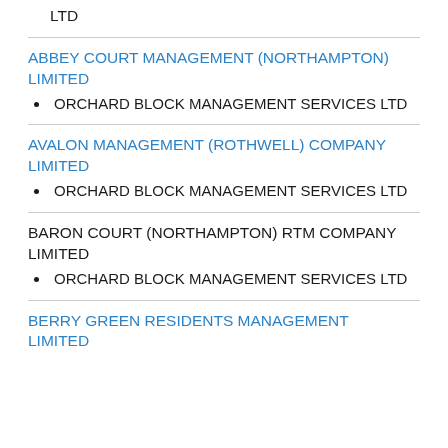LTD
ABBEY COURT MANAGEMENT (NORTHAMPTON) LIMITED
ORCHARD BLOCK MANAGEMENT SERVICES LTD
AVALON MANAGEMENT (ROTHWELL) COMPANY LIMITED
ORCHARD BLOCK MANAGEMENT SERVICES LTD
BARON COURT (NORTHAMPTON) RTM COMPANY LIMITED
ORCHARD BLOCK MANAGEMENT SERVICES LTD
BERRY GREEN RESIDENTS MANAGEMENT LIMITED